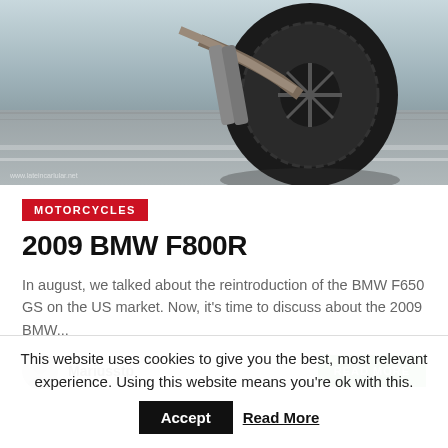[Figure (photo): Motorcycle riding on a road, close-up of rear wheel and tire in motion with blurred background. Watermark: www.lateincarlular.net]
MOTORCYCLES
2009 BMW F800R
In august, we talked about the reintroduction of the BMW F650 GS on the US market. Now, it's time to discuss about the 2009 BMW...
Mariusstp
READ MORE
This website uses cookies to give you the best, most relevant experience. Using this website means you're ok with this. Accept Read More